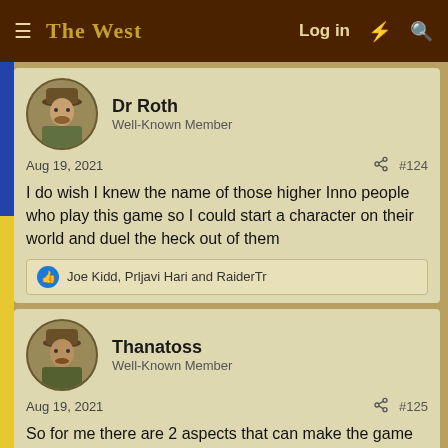THE WEST — Log in
Dr Roth
Well-Known Member
Aug 19, 2021  #124
I do wish I knew the name of those higher Inno people who play this game so I could start a character on their world and duel the heck out of them
Joe Kidd, Prljavi Hari and RaiderTr
Thanatoss
Well-Known Member
Aug 19, 2021  #125
So for me there are 2 aspects that can make the game fun
1)the community aspect:
CMs play a big role here. He can host lots of server pvp events